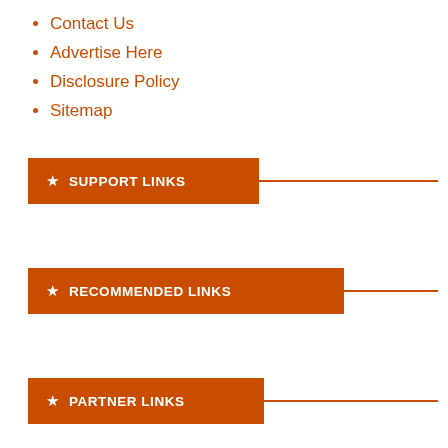Contact Us
Advertise Here
Disclosure Policy
Sitemap
SUPPORT LINKS
RECOMMENDED LINKS
PARTNER LINKS